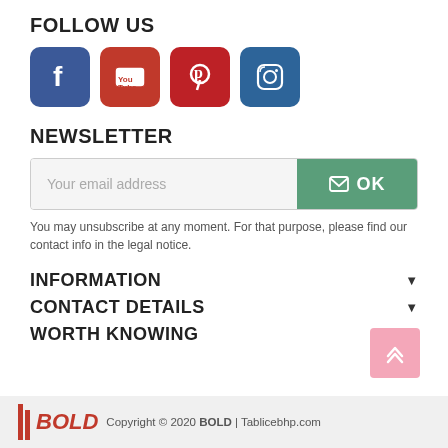FOLLOW US
[Figure (infographic): Four social media icons: Facebook (blue), YouTube (red), Pinterest (red), Instagram (dark blue)]
NEWSLETTER
[Figure (infographic): Email input field with placeholder 'Your email address' and a green OK button with envelope icon]
You may unsubscribe at any moment. For that purpose, please find our contact info in the legal notice.
INFORMATION
CONTACT DETAILS
WORTH KNOWING
Copyright © 2020 BOLD | Tablicebhp.com